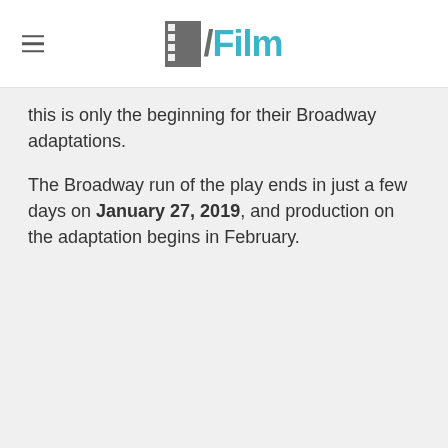/Film
this is only the beginning for their Broadway adaptations.
The Broadway run of the play ends in just a few days on January 27, 2019, and production on the adaptation begins in February.